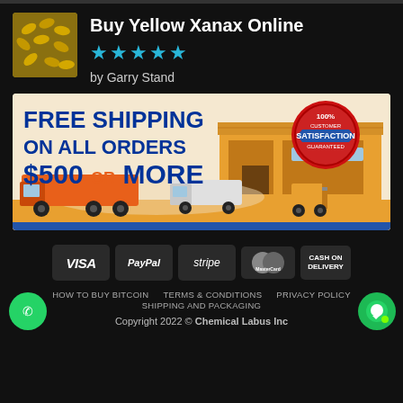Buy Yellow Xanax Online
★★★★★
by Garry Stand
[Figure (illustration): Free shipping on all orders $500 or more banner with warehouse and trucks illustration and 100% satisfaction guarantee seal]
[Figure (infographic): Payment method badges: VISA, PayPal, stripe, MasterCard, CASH ON DELIVERY]
HOW TO BUY BITCOIN   TERMS & CONDITIONS   PRIVACY POLICY
SHIPPING AND PACKAGING
Copyright 2022 © Chemical Labus Inc